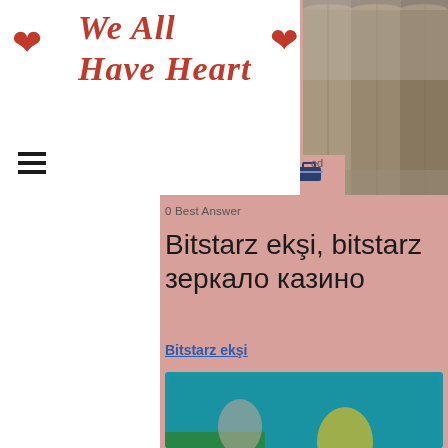We All Have Heart
0 Best Answer
Bitstarz ekşi, bitstarz зеркало казино
Bitstarz ekşi
[Figure (screenshot): Blurred screenshot of a casino website with colorful game thumbnails and people]